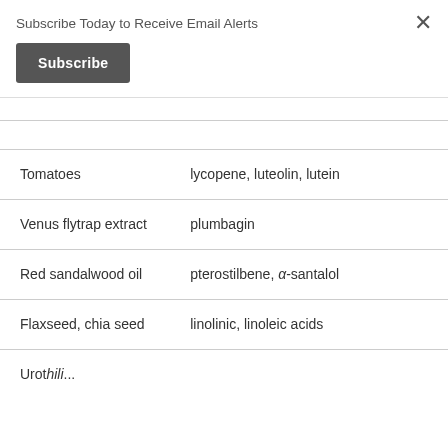Subscribe Today to Receive Email Alerts
Subscribe
| Source | Compounds |
| --- | --- |
| Tomatoes | lycopene, luteolin, lutein |
| Venus flytrap extract | plumbagin |
| Red sandalwood oil | pterostilbene, α-santalol |
| Flaxseed, chia seed | linolinic, linoleic acids |
| Urothlii... | ... |